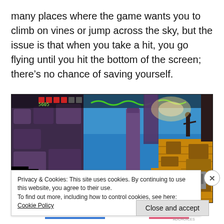many places where the game wants you to climb on vines or jump across the sky, but the issue is that when you take a hit, you go flying until you hit the bottom of the screen; there's no chance of saving yourself.
[Figure (screenshot): A retro-style video game screenshot showing a platformer level with stone and golden brick structures, blue sky background, and various game elements including a score display showing 5605.]
Privacy & Cookies: This site uses cookies. By continuing to use this website, you agree to their use.
To find out more, including how to control cookies, see here: Cookie Policy
Close and accept